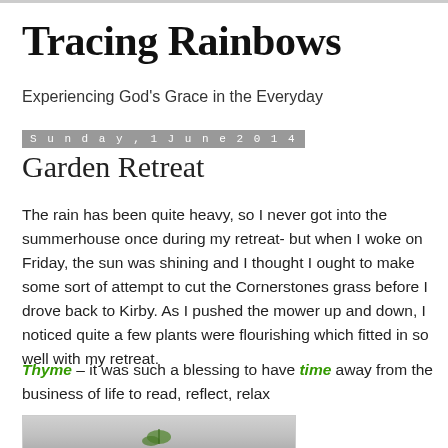Tracing Rainbows
Experiencing God's Grace in the Everyday
Sunday, 1 June 2014
Garden Retreat
The rain has been quite heavy, so I never got into the summerhouse once during my retreat- but when I woke on Friday, the sun was shining and I thought I ought to make some sort of attempt to cut the Cornerstones grass before I drove back to Kirby. As I pushed the mower up and down, I noticed quite a few plants were flourishing which fitted in so well with my retreat.
Thyme – it was such a blessing to have time away from the business of life to read, reflect, relax
[Figure (photo): Photograph of plants/thyme in a garden setting, partially visible at the bottom of the page]